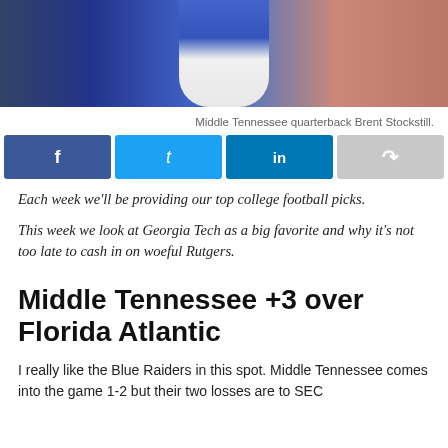[Figure (photo): Middle Tennessee quarterback Brent Stockstill in a blue uniform.]
Middle Tennessee quarterback Brent Stockstill.
[Figure (infographic): Social sharing buttons: Facebook, Twitter, LinkedIn, Share]
Each week we'll be providing our top college football picks.
This week we look at Georgia Tech as a big favorite and why it's not too late to cash in on woeful Rutgers.
Middle Tennessee +3 over Florida Atlantic
I really like the Blue Raiders in this spot. Middle Tennessee comes into the game 1-2 but their two losses are to SEC